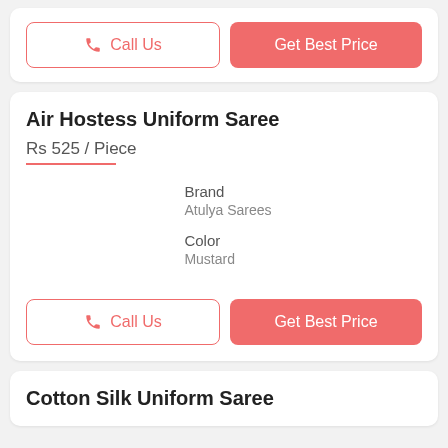Call Us | Get Best Price
Air Hostess Uniform Saree
Rs 525 / Piece
Brand
Atulya Sarees
Color
Mustard
Call Us | Get Best Price
Cotton Silk Uniform Saree